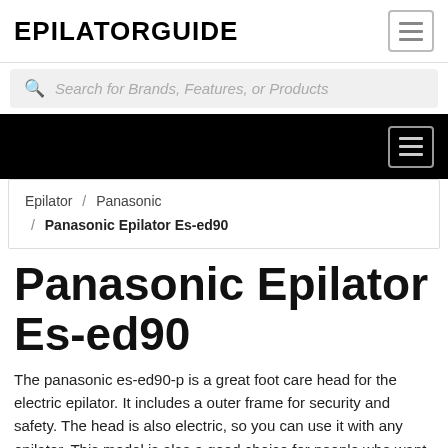EPILATORGUIDE
Search for Brands, Features, or Products
Panasonic Epilator Es-ed90
Epilator / Panasonic / Panasonic Epilator Es-ed90
The panasonic es-ed90-p is a great foot care head for the electric epilator. It includes a outer frame for security and safety. The head is also electric, so you can use it with any epilator. This model is also a good choice for people who want a low-cost epilator.